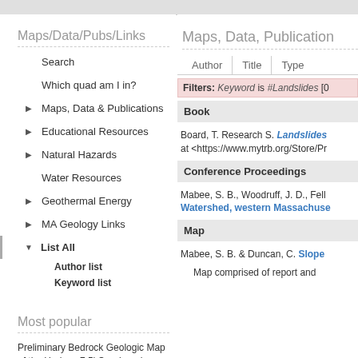Maps/Data/Pubs/Links
Search
Which quad am I in?
Maps, Data & Publications
Educational Resources
Natural Hazards
Water Resources
Geothermal Energy
MA Geology Links
List All
Author list
Keyword list
Most popular
Preliminary Bedrock Geologic Map of the Hudson 7.5' Quadrangle
Maps, Data, Publication
Author   Title   Type
Filters: Keyword is #Landslides [0
Book
Board, T. Research S. Landslides at <https://www.mytrb.org/Store/Pr
Conference Proceedings
Mabee, S. B., Woodruff, J. D., Fell Watershed, western Massachuse
Map
Mabee, S. B. & Duncan, C. Slope
Map comprised of report and